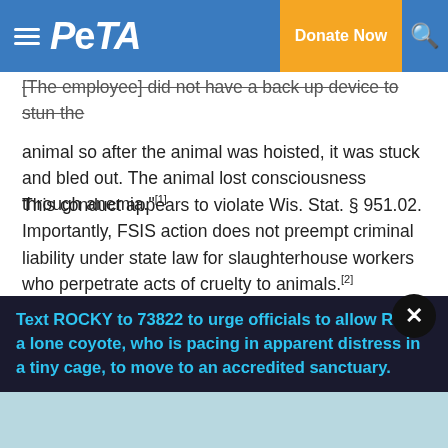PETA | Donate Now
[The employee] did not have a back up device to stun the animal so after the animal was hoisted, it was stuck and bled out. The animal lost consciousness through anemia."[1]
This conduct appears to violate Wis. Stat. § 951.02. Importantly, FSIS action does not preempt criminal liability under state law for slaughterhouse workers who perpetrate acts of cruelty to animals.[2]
Please let us know what you might do to assist you. Thank you for your consideration and for the difficult work that you do.
Text ROCKY to 73822 to urge officials to allow Rocky a lone coyote, who is pacing in apparent distress in a tiny cage, to move to an accredited sanctuary.